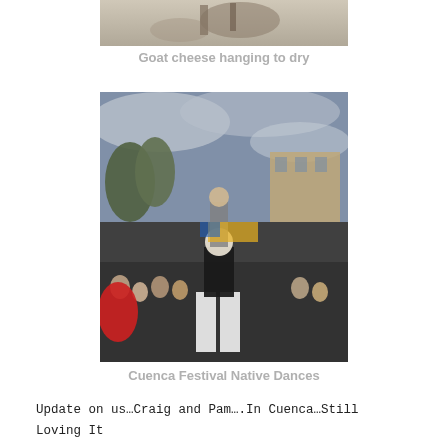[Figure (photo): Partial photo of goat cheese hanging to dry, cropped at top]
Goat cheese hanging to dry
[Figure (photo): Festival scene showing performers in costume forming a human pyramid with crowd watching, Cuenca Festival Native Dances]
Cuenca Festival Native Dances
Update on us…Craig and Pam….In Cuenca…Still Loving It